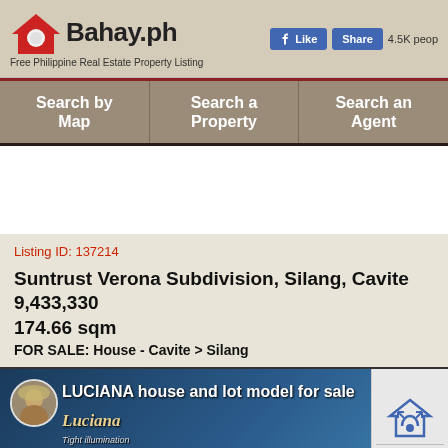[Figure (logo): Bahay.ph logo with red house icon, text 'Bahay.ph' and tagline 'Free Philippine Real Estate Property Listing', plus Facebook Like and Share buttons with '4.5K peop' count]
[Figure (infographic): Navigation bar with three sections: 'Search by Map', 'Search a Property', 'Search an Agent' on dark tan/brown background with red top border]
Listing ID: 137214
Suntrust Verona Subdivision, Silang, Cavite
9,433,330
174.66 sqm
FOR SALE: House - Cavite > Silang
[Figure (screenshot): Video thumbnail showing 'LUCIANA house and lot model for sale' with avatar, Luciana brand logo, and 'tight illumination' subtitle on blue background]